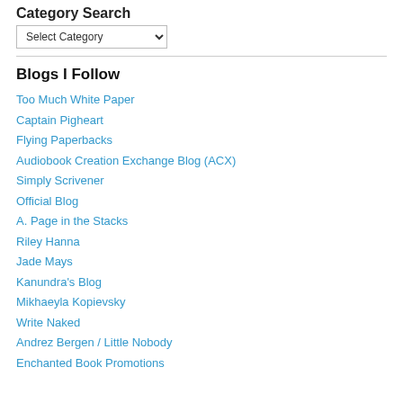Category Search
Select Category
Blogs I Follow
Too Much White Paper
Captain Pigheart
Flying Paperbacks
Audiobook Creation Exchange Blog (ACX)
Simply Scrivener
Official Blog
A. Page in the Stacks
Riley Hanna
Jade Mays
Kanundra's Blog
Mikhaeyla Kopievsky
Write Naked
Andrez Bergen / Little Nobody
Enchanted Book Promotions